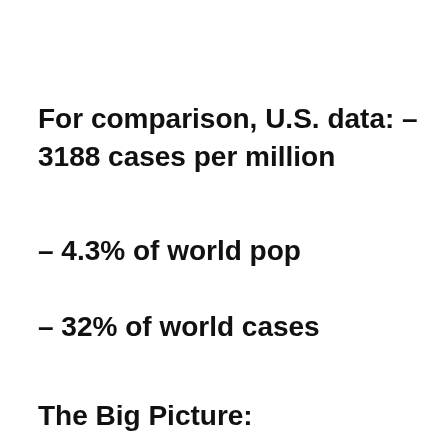For comparison, U.S. data: – 3188 cases per million
– 4.3% of world pop
– 32% of world cases
The Big Picture: